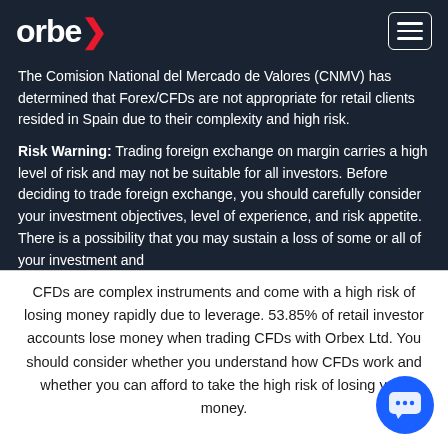orbex
The Comision National del Mercado de Valores (CNMV) has determined that Forex/CFDs are not appropriate for retail clients resided in Spain due to their complexity and high risk.
Risk Warning: Trading foreign exchange on margin carries a high level of risk and may not be suitable for all investors. Before deciding to trade foreign exchange, you should carefully consider your investment objectives, level of experience, and risk appetite. There is a possibility that you may sustain a loss of some or all of your investment and
CFDs are complex instruments and come with a high risk of losing money rapidly due to leverage. 53.85% of retail investor accounts lose money when trading CFDs with Orbex Ltd. You should consider whether you understand how CFDs work and whether you can afford to take the high risk of losing your money.